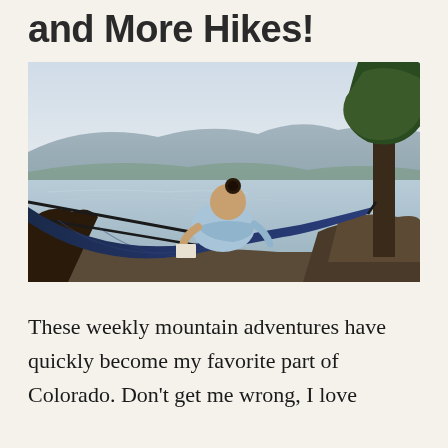and More Hikes!
[Figure (photo): Person sitting in a blue hammock reading, overlooking a calm lake with mountains and trees in the background on a hazy day.]
These weekly mountain adventures have quickly become my favorite part of Colorado. Don't get me wrong, I love...